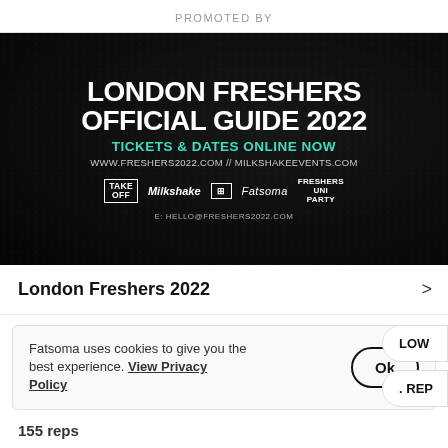PROMOTED BY
[Figure (photo): Dark advertisement banner for London Freshers Official Guide 2022 with crowd background. Text: LONDON FRESHERS OFFICIAL GUIDE 2022, TICKETS & DATES ONLINE NOW, WWW.FRESHERS2022.COM // MILKSHAKEEVENTS.COM, partner logos (TAKE OFF, Milkshake, Ministry of Sound, Fatsoma, Student Union Party), E: HELLO@FRESHERS2022.COM]
London Freshers 2022
Fatsoma uses cookies to give you the best experience. View Privacy Policy
Ok
LOW
. REP
155 reps